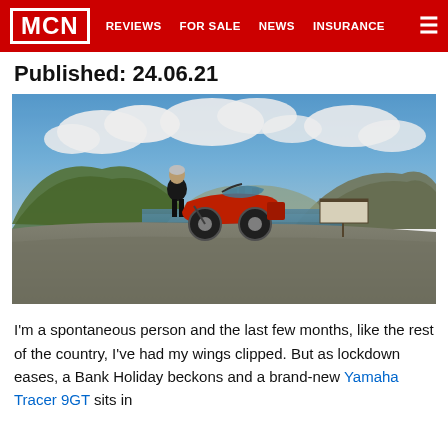MCN  REVIEWS  FOR SALE  NEWS  INSURANCE
Published: 24.06.21
[Figure (photo): A rider in black motorcycle gear stands next to a red Yamaha Tracer 9GT sport-tourer motorcycle on a gravel roadside. In the background is a loch, a Scottish castle, rolling green and brown hills, and a bright blue sky with white clouds.]
I'm a spontaneous person and the last few months, like the rest of the country, I've had my wings clipped. But as lockdown eases, a Bank Holiday beckons and a brand-new Yamaha Tracer 9GT sits in